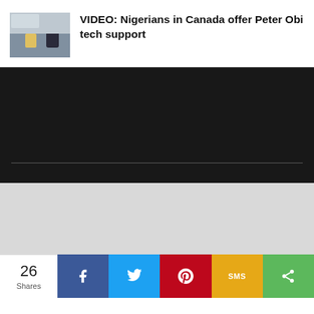[Figure (photo): Thumbnail image showing people in an office/meeting environment]
VIDEO: Nigerians in Canada offer Peter Obi tech support
[Figure (screenshot): Dark video player area with progress bar]
[Figure (other): Light grey advertisement area]
26 Shares
Facebook share button
Twitter share button
Pinterest share button
SMS share button
General share button